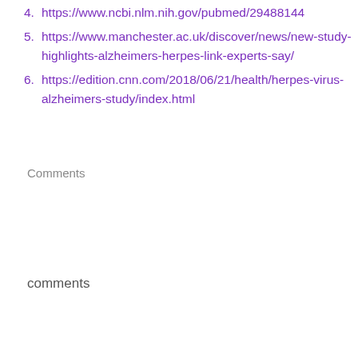4. https://www.ncbi.nlm.nih.gov/pubmed/29488144
5. https://www.manchester.ac.uk/discover/news/new-study-highlights-alzheimers-herpes-link-experts-say/
6. https://edition.cnn.com/2018/06/21/health/herpes-virus-alzheimers-study/index.html
Comments
comments